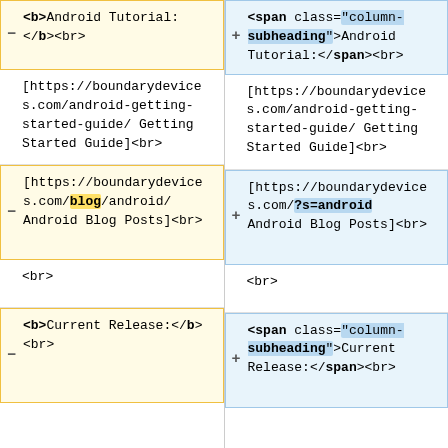<b>Android Tutorial: </b><br>
<span class="column-subheading">Android Tutorial:</span><br>
[https://boundarydevices.com/android-getting-started-guide/ Getting Started Guide]<br>
[https://boundarydevices.com/android-getting-started-guide/ Getting Started Guide]<br>
[https://boundarydevices.com/blog/android/ Android Blog Posts]<br>
[https://boundarydevices.com/?s=android Android Blog Posts]<br>
<br>
<br>
<b>Current Release:</b><br>
<span class="column-subheading">Current Release:</span><br>